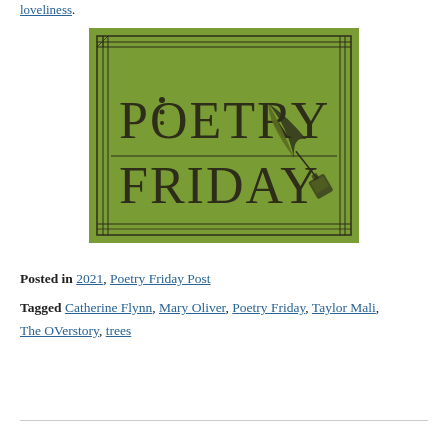loveliness.
[Figure (illustration): Poetry Friday logo on green background with decorative border and quill pen illustration]
Posted in 2021, Poetry Friday Post
Tagged Catherine Flynn, Mary Oliver, Poetry Friday, Taylor Mali, The OVerstory, trees